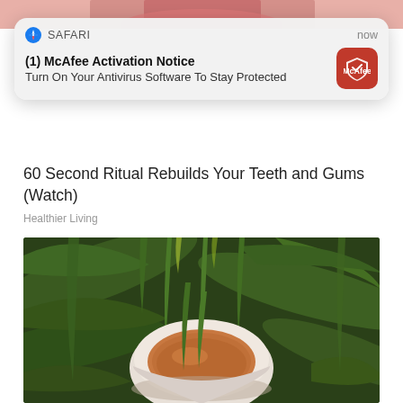[Figure (photo): Top portion of a photo, appears to show a person's mouth/lips area cropped]
[Figure (screenshot): Safari iOS notification: (1) McAfee Activation Notice - Turn On Your Antivirus Software To Stay Protected, with McAfee red icon, timestamped 'now']
60 Second Ritual Rebuilds Your Teeth and Gums (Watch)
Healthier Living
[Figure (photo): Photo of green plants/leaves surrounding a white ceramic bowl filled with orange/reddish herbal tea or liquid]